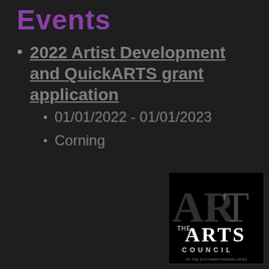Events
2022 Artist Development and QuickARTS grant application
01/01/2022 - 01/01/2023
Corning
[Figure (logo): The Arts Council logo — large 'ART' overlapping letters in white/grey on black background, with 'THE ARTS' and 'COUNCIL' text below]